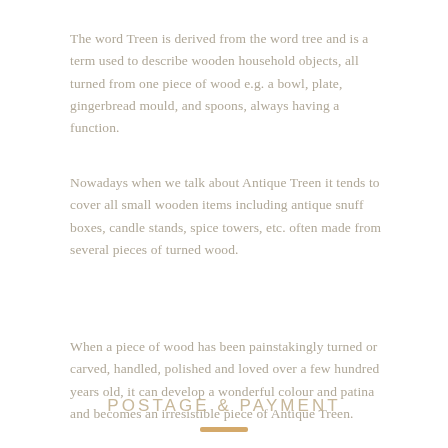The word Treen is derived from the word tree and is a term used to describe wooden household objects, all turned from one piece of wood e.g. a bowl, plate, gingerbread mould, and spoons, always having a function.
Nowadays when we talk about Antique Treen it tends to cover all small wooden items including antique snuff boxes, candle stands, spice towers, etc. often made from several pieces of turned wood.
When a piece of wood has been painstakingly turned or carved, handled, polished and loved over a few hundred years old, it can develop a wonderful colour and patina and becomes an irresistible piece of Antique Treen.
POSTAGE & PAYMENT